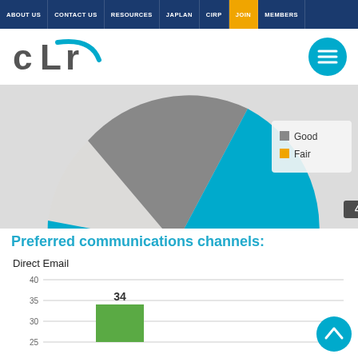ABOUT US | CONTACT US | RESOURCES | JAPLAN | CIRP | JOIN | MEMBERS
[Figure (logo): CLR logo with cyan arc graphic and hamburger menu button]
[Figure (pie-chart): Pie chart showing 48% slice in cyan, legend showing Good and Fair]
Preferred communications channels:
Direct Email
[Figure (bar-chart): Direct Email]